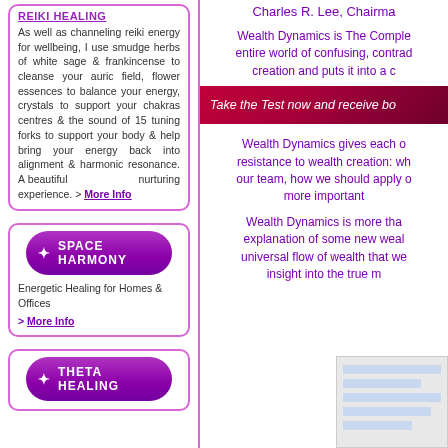REIKI HEALING
As well as channeling reiki energy for wellbeing, I use smudge herbs of white sage & frankincense to cleanse your auric field, flower essences to balance your energy, crystals to support your chakras centres & the sound of 15 tuning forks to support your body & help bring your energy back into alignment & harmonic resonance. A beautiful nurturing experience. > More Info
Charles R. Lee, Chairma...
Wealth Dynamics is The Comple... entire world of confusing, contrad... creation and puts it into a c...
[Figure (other): Red/crimson banner with italic white text: Take the Test now and receive bo...]
Wealth Dynamics gives each o... resistance to wealth creation: wh... our team, how we should apply o... more important...
Wealth Dynamics is more tha... explanation of some new weal... universal flow of wealth that we... insight into the true m...
SPACE HARMONY
Energetic Healing for Homes & Offices
> More Info
THETA HEALING
[Figure (photo): Partial image of notebook/paper in bottom right corner]